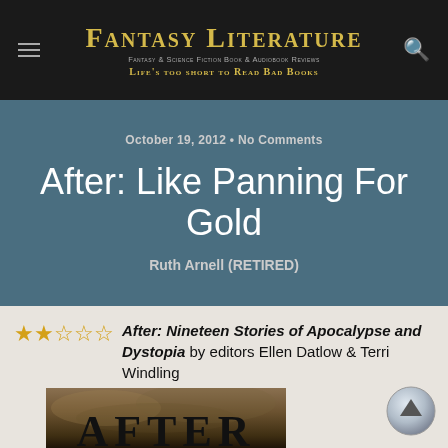Fantasy Literature — Fantasy & Science Fiction Book & Audiobook Reviews — Life's too short to Read Bad Books
October 19, 2012 • No Comments
After: Like Panning For Gold
Ruth Arnell (RETIRED)
After: Nineteen Stories of Apocalypse and Dystopia by editors Ellen Datlow & Terri Windling
[Figure (photo): Book cover of 'After: Nineteen Stories of Apocalypse and Dystopia' showing the word AFTER in large bold letters against a dark, moody stormy sky background]